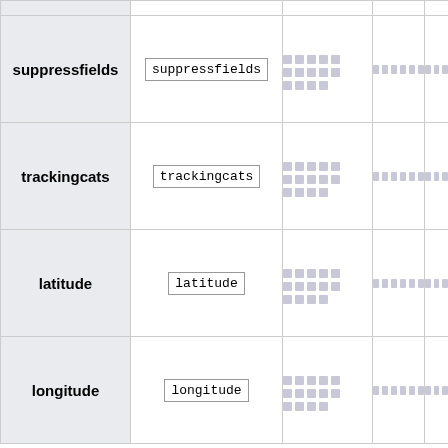| Name | Code | Description | Col4 | Col5 |
| --- | --- | --- | --- | --- |
| suppressfields | suppressfields | █████ █████ ████ | ██████ | ███ |
| trackingcats | trackingcats | █████ █████ ████ | ██████ | ███ |
| latitude | latitude | █████ █████ ████ | ██████ | ███ |
| longitude | longitude | █████ █████ ████ | ██████ | ███ |